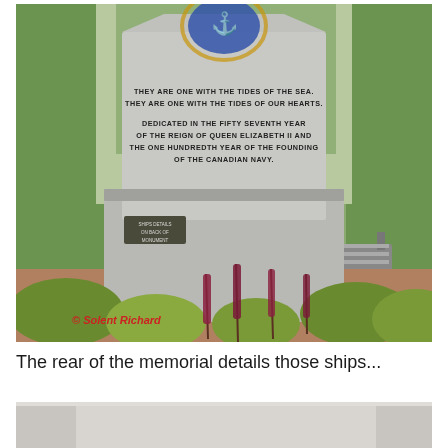[Figure (photo): Photo of a Canadian Navy memorial monument in granite. The monument face reads: 'THEY ARE ONE WITH THE TIDES OF THE SEA. THEY ARE ONE WITH THE TIDES OF OUR HEARTS. DEDICATED IN THE FIFTY SEVENTH YEAR OF THE REIGN OF QUEEN ELIZABETH II AND THE ONE HUNDREDTH YEAR OF THE FOUNDING OF THE CANADIAN NAVY.' A naval crest/badge is visible at the top. A small plaque reads 'SHIPS DETAILS ON BACK OF MONUMENT'. Red copyright watermark reads '© Solent Richard'. Benches and trees are visible in the background. Flowers and shrubs in the foreground.]
The rear of the memorial details those ships...
[Figure (photo): Partial view of the rear of the Canadian Navy memorial monument, cropped at bottom of page.]